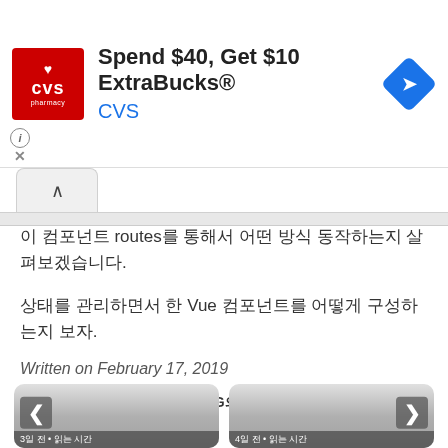[Figure (screenshot): CVS Pharmacy advertisement banner: 'Spend $40, Get $10 ExtraBucks® CVS' with CVS logo and navigation diamond icon]
이 컴포넌트 routes를 통해서 어떤 방식 동작하는지 살펴보겠습니다.
상태를 관리하면서 한 Vue 컴포넌트를 어떻게 구성하는지 보자.
Written on February 17, 2019
MINWOOK-SHINS TECH BLOG의 글을 읽어요.
[Figure (screenshot): Two navigation cards with left/right arrows and Korean labels '3일 전 • 읽는 시간' and '4일 전 • 읽는 시간']